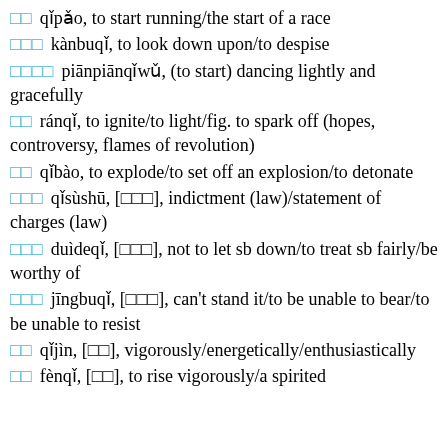□□ qǐpǎo, to start running/the start of a race
□□□ kànbuqǐ, to look down upon/to despise
□□□□ piānpiānqǐwǔ, (to start) dancing lightly and gracefully
□□ ránqǐ, to ignite/to light/fig. to spark off (hopes, controversy, flames of revolution)
□□ qǐbào, to explode/to set off an explosion/to detonate
□□□ qǐsùshū, [□□□], indictment (law)/statement of charges (law)
□□□ duìdeqǐ, [□□□], not to let sb down/to treat sb fairly/be worthy of
□□□ jīngbuqǐ, [□□□], can't stand it/to be unable to bear/to be unable to resist
□□ qǐjìn, [□□], vigorously/energetically/enthusiastically
□□ fènqǐ, [□□], to rise vigorously/a spirited